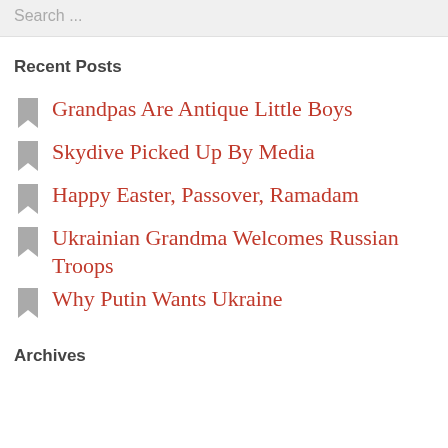Search ...
Recent Posts
Grandpas Are Antique Little Boys
Skydive Picked Up By Media
Happy Easter, Passover, Ramadam
Ukrainian Grandma Welcomes Russian Troops
Why Putin Wants Ukraine
Archives